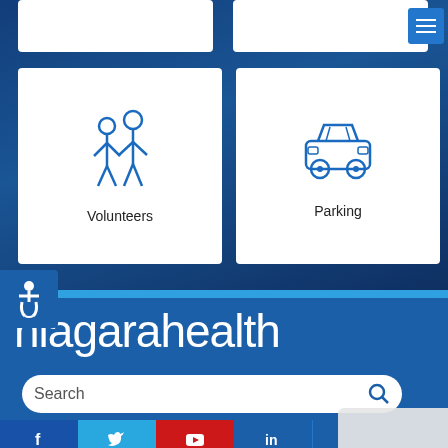[Figure (screenshot): Niagara Health website screenshot showing Volunteers and Parking navigation cards on a dark blue tiled background, with accessibility icon, niagarahealth branding, search bar, and social media icons]
Volunteers
Parking
niagarahealth
Search
Privacy · Terms